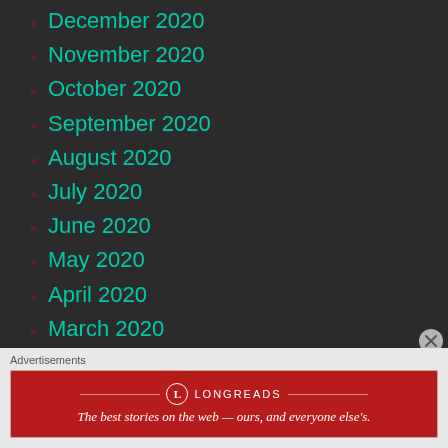» December 2020
» November 2020
» October 2020
» September 2020
» August 2020
» July 2020
» June 2020
» May 2020
» April 2020
» March 2020
» February 2020
» January 2020
Advertisements
[Figure (other): Longreads advertisement banner: The best stories on the web — ours, and everyone else's.]